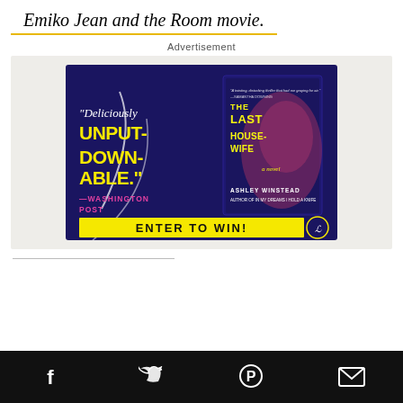Emiko Jean and the Room movie.
Advertisement
[Figure (illustration): Advertisement for 'The Last Housewife' novel by Ashley Winstead. Dark purple/navy background with hands holding a phone. Text reads: "Deliciously UNPUT-DOWNABLE." —WASHINGTON POST. Yellow banner at bottom: ENTER TO WIN!]
Social share bar with Facebook, Twitter, Pinterest, and Email icons